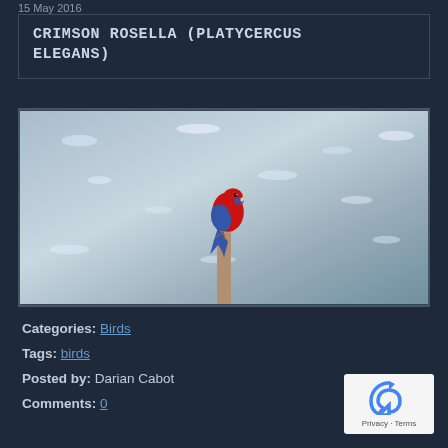15 May 2016
CRIMSON ROSELLA (PLATYCERCUS ELEGANS)
[Figure (photo): A crimson rosella (red and blue parrot) perched on top of a wooden post, with glistening water in the background.]
Categories: Birds
Tags: birds
Posted by: Darian Cabot
Comments: 0